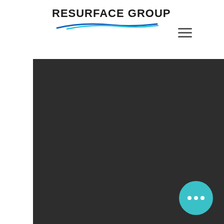[Figure (logo): Resurface Group logo with bold text and blue/teal swoosh underline]
[Figure (illustration): Hamburger menu icon (three horizontal lines) in top right corner]
[Figure (photo): Large dark/black panel area taking up most of the page below the header]
[Figure (illustration): Teal circular button with three white dots in the bottom right of the dark panel]